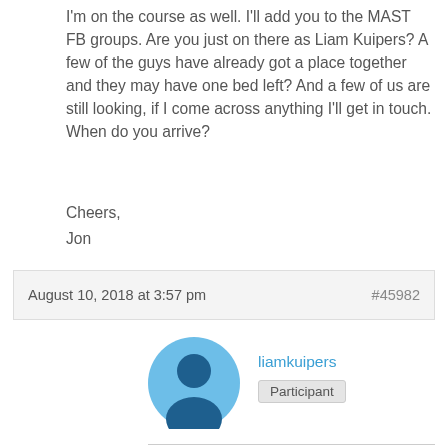I'm on the course as well. I'll add you to the MAST FB groups. Are you just on there as Liam Kuipers? A few of the guys have already got a place together and they may have one bed left? And a few of us are still looking, if I come across anything I'll get in touch. When do you arrive?
Cheers,
Jon
August 10, 2018 at 3:57 pm
#45982
liamkuipers
Participant
Hey Jon,
That would be perfect if you could add me to the group and let me know if you stumble across anything. And yeah I'm on there as Liam Kuipers!
I have no set date to arrive in town at the moment- I'm going to plan my arrival in more detail once my housing situation has been settled, but I have a very flexible schedule for the month of August and was going to drive